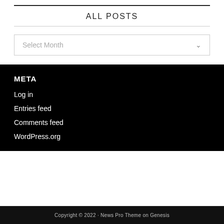ALL POSTS
Select Month
META
Log in
Entries feed
Comments feed
WordPress.org
Copyright © 2022 · News Pro Theme on Genesis